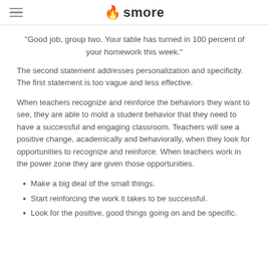smore
"Good job, group two. Your table has turned in 100 percent of your homework this week."
The second statement addresses personalization and specificity. The first statement is too vague and less effective.
When teachers recognize and reinforce the behaviors they want to see, they are able to mold a student behavior that they need to have a successful and engaging classroom. Teachers will see a positive change, academically and behaviorally, when they look for opportunities to recognize and reinforce. When teachers work in the power zone they are given those opportunities.
Make a big deal of the small things.
Start reinforcing the work it takes to be successful.
Look for the positive, good things going on and be specific.